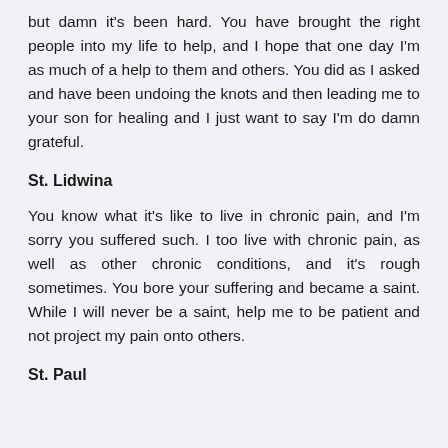but damn it's been hard. You have brought the right people into my life to help, and I hope that one day I'm as much of a help to them and others. You did as I asked and have been undoing the knots and then leading me to your son for healing and I just want to say I'm do damn grateful.
St. Lidwina
You know what it's like to live in chronic pain, and I'm sorry you suffered such. I too live with chronic pain, as well as other chronic conditions, and it's rough sometimes. You bore your suffering and became a saint. While I will never be a saint, help me to be patient and not project my pain onto others.
St. Paul